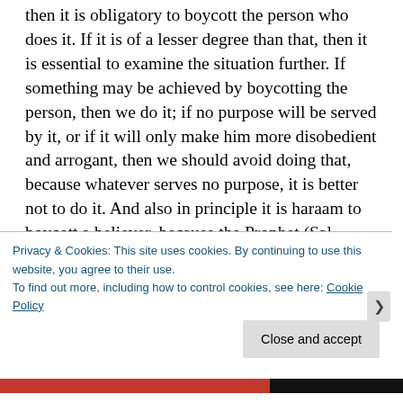then it is obligatory to boycott the person who does it. If it is of a lesser degree than that, then it is essential to examine the situation further. If something may be achieved by boycotting the person, then we do it; if no purpose will be served by it, or if it will only make him more disobedient and arrogant, then we should avoid doing that, because whatever serves no purpose, it is better not to do it. And also in principle it is haraam to boycott a believer, because the Prophet (Sal Allaahu Alaiyhi wa Sallam) said: ‘It is not permissible for a man to forsake [not speak to] his brother for more than three [days].’”.(Adapted from Majmoo’ Fataawa Ibn
Privacy & Cookies: This site uses cookies. By continuing to use this website, you agree to their use.
To find out more, including how to control cookies, see here: Cookie Policy